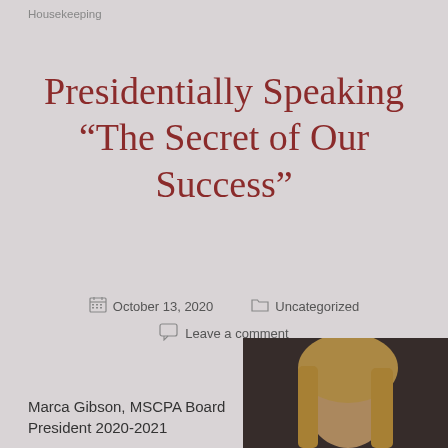Housekeeping
Presidentially Speaking "The Secret of Our Success"
October 13, 2020   Uncategorized   Leave a comment
Marca Gibson, MSCPA Board President 2020-2021
[Figure (photo): Portrait photo of Marca Gibson, a woman with blonde hair against a dark background]